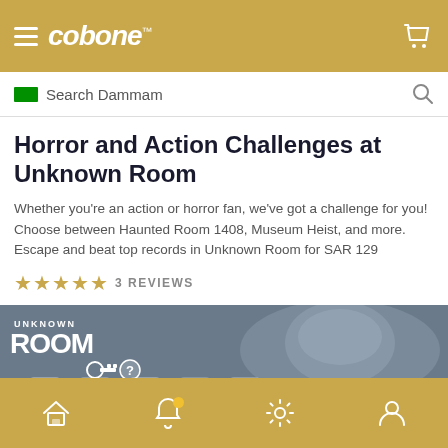cobone™
Search Dammam
Horror and Action Challenges at Unknown Room
Whether you're an action or horror fan, we've got a challenge for you! Choose between Haunted Room 1408, Museum Heist, and more. Escape and beat top records in Unknown Room for SAR 129
★★★★★  3 REVIEWS
[Figure (photo): Unknown Room escape room promotional banner with lion/monster face graphic]
QUICK CHECKOUT
ADD TO CART
Home | Notifications | Settings | Account